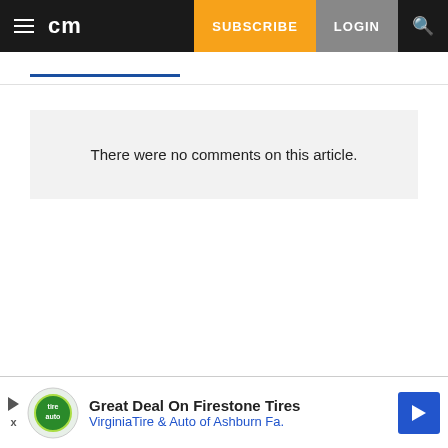cm | SUBSCRIBE | LOGIN
There were no comments on this article.
[Figure (screenshot): Advertisement banner: Great Deal On Firestone Tires - VirginiaTire & Auto of Ashburn Fa.]